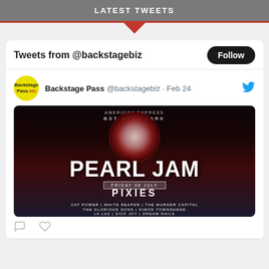LATEST TWEETS
Tweets from @backstagebiz
[Figure (screenshot): A concert promotional image for Pearl Jam at BST Hyde Park. Shows AMERICAN EXPRESS at top, BST HYDE PARK, large stylized PEARL JAM text over a blood moon on dark background. FRIDAY 08 JULY bar, then PIXIES, CAT POWER | WHITE REAPER | THE MURDER CAPITAL, THE GLORIOUS SONS | SIMON TOWNSHEND, LA LUZ | SICK JOY | DREAM NAILS]
Backstage Pass @backstagebiz · Feb 24